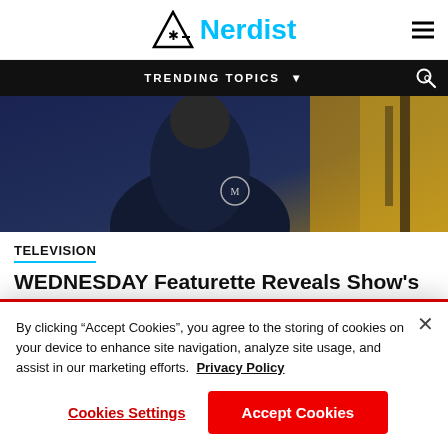Nerdist
TRENDING TOPICS
[Figure (photo): Dark image of a person in a navy blue jacket with an emblem, with yellow autumn trees in the background]
TELEVISION
WEDNESDAY Featurette Reveals Show's Dark Wit and Mysterious Nevermore
By clicking “Accept Cookies”, you agree to the storing of cookies on your device to enhance site navigation, analyze site usage, and assist in our marketing efforts. Privacy Policy
Cookies Settings
Accept Cookies